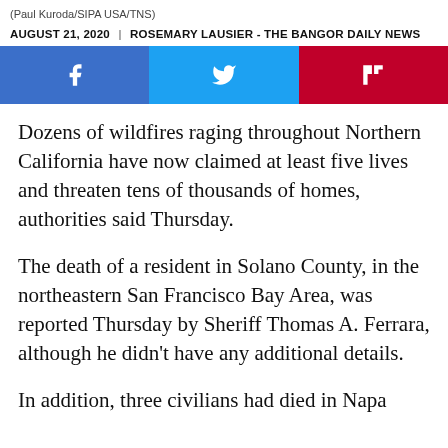(Paul Kuroda/SIPA USA/TNS)
AUGUST 21, 2020  |  ROSEMARY LAUSIER - THE BANGOR DAILY NEWS
[Figure (infographic): Social share buttons: Facebook (blue), Twitter (light blue), Flipboard (red)]
Dozens of wildfires raging throughout Northern California have now claimed at least five lives and threaten tens of thousands of homes, authorities said Thursday.
The death of a resident in Solano County, in the northeastern San Francisco Bay Area, was reported Thursday by Sheriff Thomas A. Ferrara, although he didn't have any additional details.
In addition, three civilians had died in Napa